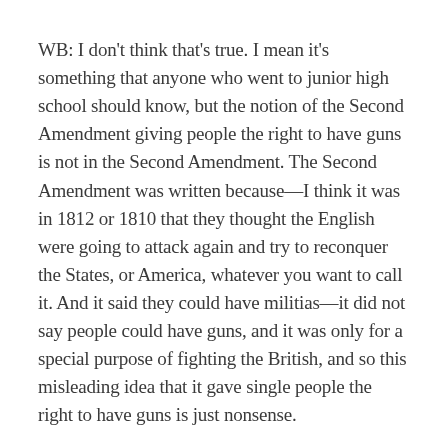WB: I don't think that's true. I mean it's something that anyone who went to junior high school should know, but the notion of the Second Amendment giving people the right to have guns is not in the Second Amendment. The Second Amendment was written because—I think it was in 1812 or 1810 that they thought the English were going to attack again and try to reconquer the States, or America, whatever you want to call it. And it said they could have militias—it did not say people could have guns, and it was only for a special purpose of fighting the British, and so this misleading idea that it gave single people the right to have guns is just nonsense.
TB: And the supposedly originalist Supreme